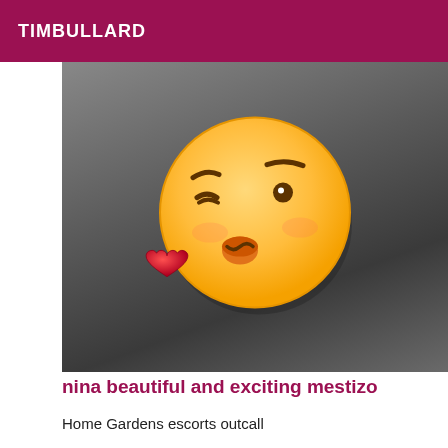TIMBULLARD
[Figure (photo): Photo with a kissing face emoji overlay (😘) with a red heart, placed over a dark background photo.]
nina beautiful and exciting mestizo
Home Gardens escorts outcall